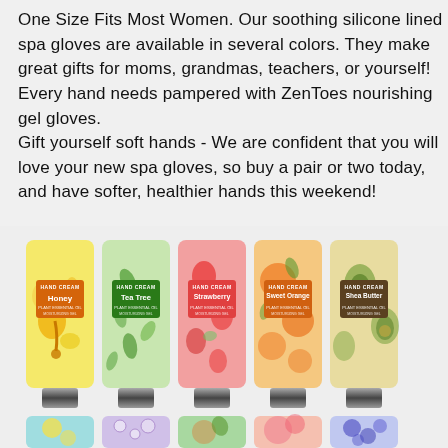One Size Fits Most Women. Our soothing silicone lined spa gloves are available in several colors. They make great gifts for moms, grandmas, teachers, or yourself! Every hand needs pampered with ZenToes nourishing gel gloves. Gift yourself soft hands - We are confident that you will love your new spa gloves, so buy a pair or two today, and have softer, healthier hands this weekend!
[Figure (photo): Five hand cream tubes in different varieties displayed side by side: Honey (yellow), Tea Tree (green), Strawberry (pink), Sweet Orange (orange), and Shea Butter (cream/avocado). Below is a partial view of additional tubes showing lemon, lavender/bubbles, coconut, peach/pink, and blueberry varieties.]